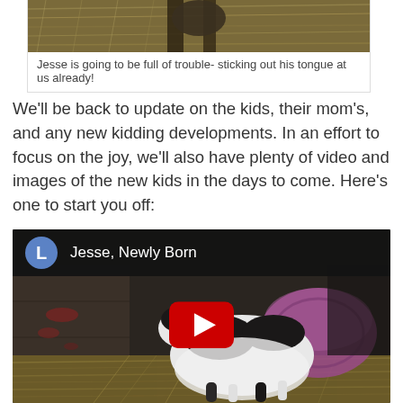[Figure (photo): Partial photo of an animal (likely a goat) outdoors on hay/straw, cropped at top]
Jesse is going to be full of trouble- sticking out his tongue at us already!
We'll be back to update on the kids, their mom's, and any new kidding developments. In an effort to focus on the joy, we'll also have plenty of video and images of the new kids in the days to come. Here's one to start you off:
[Figure (screenshot): YouTube video embed showing 'Jesse, Newly Born' — a black and white newborn goat kid lying on hay in a barn, with a purple bowl nearby. YouTube play button visible in center. User avatar 'L' in blue circle in header.]